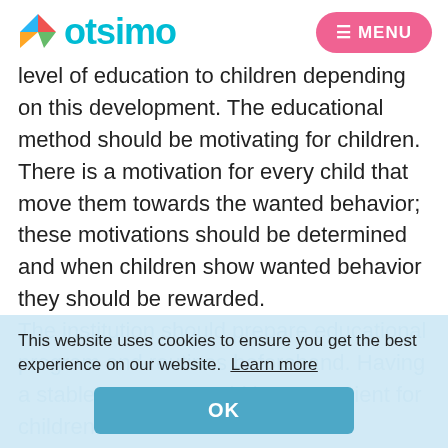otsimo | MENU
level of education to children depending on this development. The educational method should be motivating for children. There is a motivation for every child that move them towards the wanted behavior; these motivations should be determined and when children show wanted behavior they should be rewarded.
This website uses cookies to ensure you get the best experience on our website. Learn more
OK
The institution should prepare educational program and routines beforehand. Having a stable program would be convenient for children.